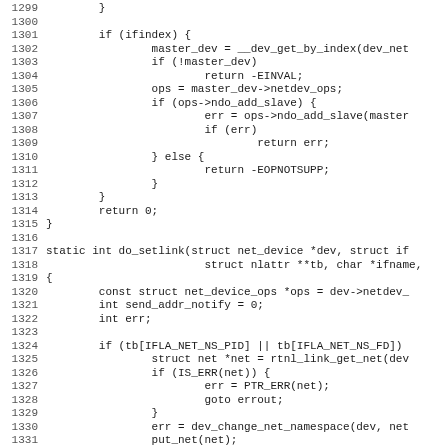Source code listing lines 1299-1331, C kernel networking code including do_setlink function
1299        }
1300
1301        if (ifindex) {
1302                master_dev = __dev_get_by_index(dev_net
1303                if (!master_dev)
1304                        return -EINVAL;
1305                ops = master_dev->netdev_ops;
1306                if (ops->ndo_add_slave) {
1307                        err = ops->ndo_add_slave(master
1308                        if (err)
1309                                return err;
1310                } else {
1311                        return -EOPNOTSUPP;
1312                }
1313        }
1314        return 0;
1315 }
1316
1317 static int do_setlink(struct net_device *dev, struct if
1318                        struct nlattr **tb, char *ifname,
1319 {
1320        const struct net_device_ops *ops = dev->netdev_
1321        int send_addr_notify = 0;
1322        int err;
1323
1324        if (tb[IFLA_NET_NS_PID] || tb[IFLA_NET_NS_FD])
1325                struct net *net = rtnl_link_get_net(dev
1326                if (IS_ERR(net)) {
1327                        err = PTR_ERR(net);
1328                        goto errout;
1329                }
1330                err = dev_change_net_namespace(dev, net
1331                put_net(net);